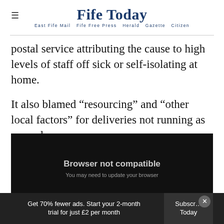Fife Today — East Fife Mail  Fife Free Press  Herald  Gazette  Citizen
postal service attributing the cause to high levels of staff off sick or self-isolating at home.
It also blamed “resourcing” and “other local factors” for deliveries not running as normal.
[Figure (screenshot): Video player showing 'Browser not compatible — You may need to update your browser' message with a Report ID bar below.]
Get 70% fewer ads. Start your 2-month trial for just £2 per month  Subscribe Today